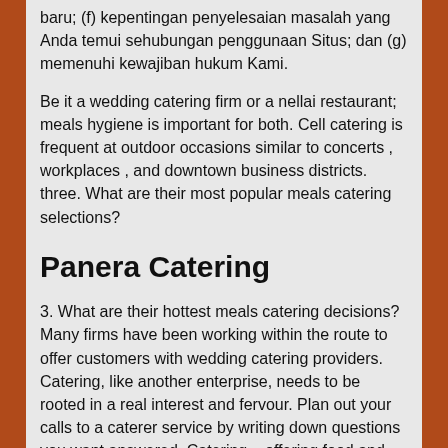baru; (f) kepentingan penyelesaian masalah yang Anda temui sehubungan penggunaan Situs; dan (g) memenuhi kewajiban hukum Kami.
Be it a wedding catering firm or a nellai restaurant; meals hygiene is important for both. Cell catering is frequent at outdoor occasions similar to concerts , workplaces , and downtown business districts. three. What are their most popular meals catering selections?
Panera Catering
3. What are their hottest meals catering decisions? Many firms have been working within the route to offer customers with wedding catering providers.
Catering, like another enterprise, needs to be rooted in a real interest and fervour. Plan out your calls to a caterer service by writing down questions you want answered. Catering – offering food and services. We provide catering supply for giant orders and group catering purchases. Even if you want you could be acknowledged as the 'marriage ceremony catering specialist' in future too.
Cater definition is – to supply a supply of meals. Find out the steps involved in catering an event and the right way to start a career in catering. 5) Understand that there are 'area of interest'